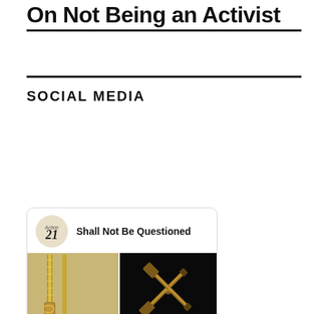On Not Being an Activist
SOCIAL MEDIA
[Figure (screenshot): Social media card for 'Shall Not Be Questioned' page showing a logo avatar and two images of ornate antique firearms/flintlock pistols]